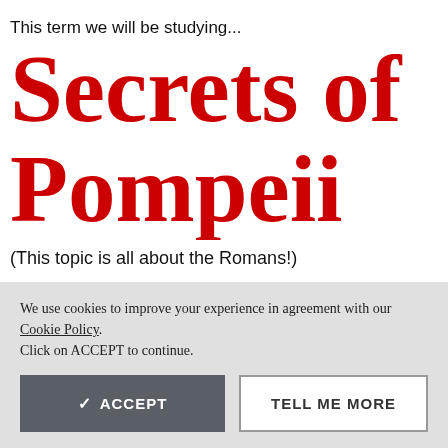This term we will be studying...
Secrets of Pompeii
(This topic is all about the Romans!)
We use cookies to improve your experience in agreement with our Cookie Policy.
Click on ACCEPT to continue.